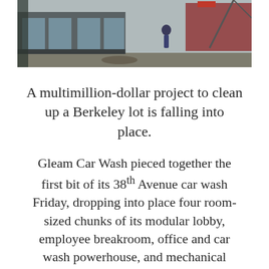[Figure (photo): Photograph showing a building exterior with large glass windows and a construction or installation scene; workers and equipment visible in foreground and background.]
A multimillion-dollar project to clean up a Berkeley lot is falling into place.
Gleam Car Wash pieced together the first bit of its 38th Avenue car wash Friday, dropping into place four room-sized chunks of its modular lobby, employee breakroom, office and car wash powerhouse, and mechanical